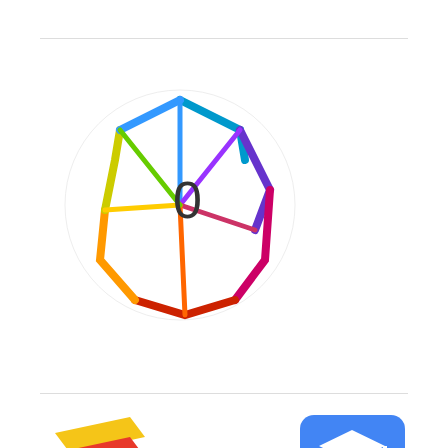[Figure (logo): Altmetric score badge showing colorful polygonal gem shape with '0' in center on white circle background]
[Figure (logo): Crossref Cited-by logo with colorful layered ribbon mark, text 'Crossref Cited-by' and badge showing '0']
[Figure (logo): Google Scholar logo - blue rounded square with white graduation cap 'g' icon]
[Figure (other): Share button with orange plus icon and 'SHARE' text in bordered box]